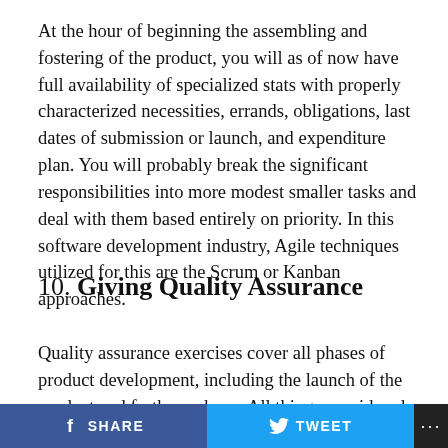At the hour of beginning the assembling and fostering of the product, you will as of now have full availability of specialized stats with properly characterized necessities, errands, obligations, last dates of submission or launch, and expenditure plan. You will probably break the significant responsibilities into more modest smaller tasks and deal with them based entirely on priority. In this software development industry, Agile techniques utilized for this are the Scrum or Kanban approaches.
10. Giving Quality Assurance
Quality assurance exercises cover all phases of product development, including the launch of the product and further upkeep. All things considered, their principle
SHARE   TWEET   ...